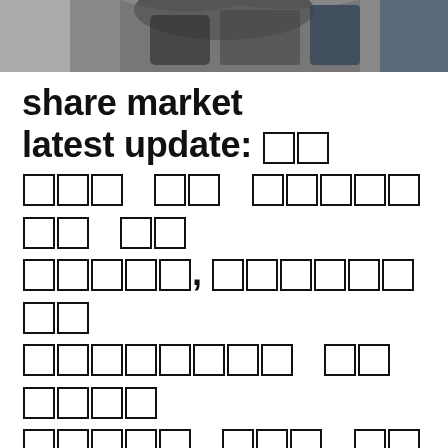[Figure (photo): Partial photo of a person, cropped at top of page, dark clothing visible]
share market latest update: [Hindi text - share market news headline in Devanagari script]